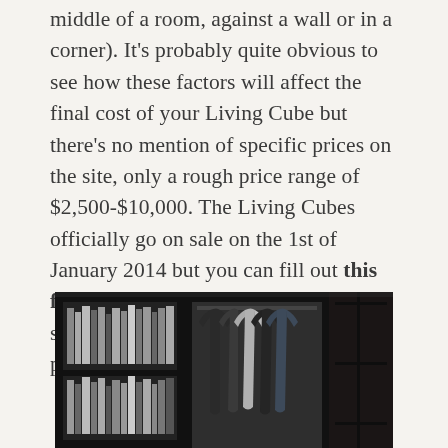middle of a room, against a wall or in a corner). It's probably quite obvious to see how these factors will affect the final cost of your Living Cube but there's no mention of specific prices on the site, only a rough price range of $2,500-$10,000. The Living Cubes officially go on sale on the 1st of January 2014 but you can fill out this form in advance with your specifications to pre-order and to get a price for your desired configuration.
[Figure (photo): Black and white photo of a Living Cube interior showing dark wooden shelving unit with books on the left section and hanging clothes (jackets) in the middle section, with a dark wood panel on the right side.]